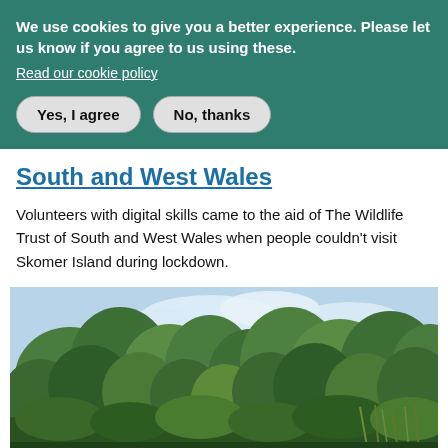We use cookies to give you a better experience. Please let us know if you agree to us using these.
Read our cookie policy
Yes, I agree
No, thanks
South and West Wales
Volunteers with digital skills came to the aid of The Wildlife Trust of South and West Wales when people couldn’t visit Skomer Island during lockdown.
[Figure (photo): Outdoor nature photograph showing green trees and shrubs against a partly cloudy sky, likely a nature reserve or woodland area.]